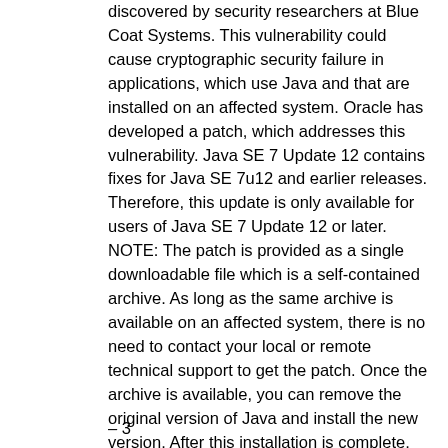discovered by security researchers at Blue Coat Systems. This vulnerability could cause cryptographic security failure in applications, which use Java and that are installed on an affected system. Oracle has developed a patch, which addresses this vulnerability. Java SE 7 Update 12 contains fixes for Java SE 7u12 and earlier releases. Therefore, this update is only available for users of Java SE 7 Update 12 or later. NOTE: The patch is provided as a single downloadable file which is a self-contained archive. As long as the same archive is available on an affected system, there is no need to contact your local or remote technical support to get the patch. Once the archive is available, you can remove the original version of Java and install the new version. After this installation is complete, you can proceed to use the patched version. This security bulletin contains important information on how to download and install the patch.
– 3